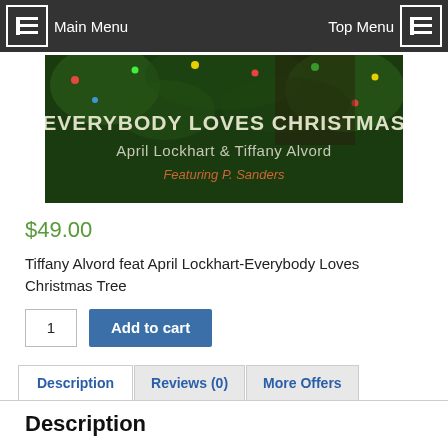Main Menu | Top Menu
[Figure (photo): Album/product cover image showing Christmas tree decorations with text: EVERYBODY LOVES CHRISTMAS, April Lockhart & Tiffany Alvord, Featuring P. Sanders]
$49.00
Tiffany Alvord feat April Lockhart-Everybody Loves Christmas Tree
Add to cart (quantity: 1)
Description | Reviews (0) | More Offers
Description